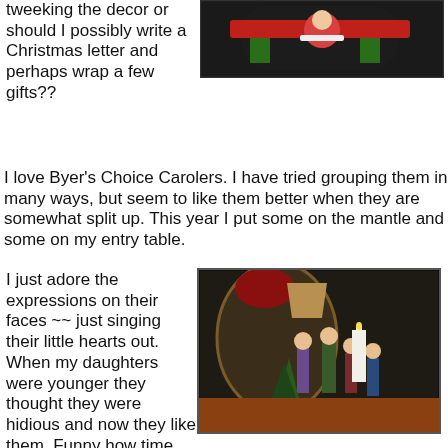tweeking the decor or should I possibly write a Christmas letter and perhaps wrap a few gifts??
[Figure (photo): Photo of Christmas decorations with Santa motif, dark background, top of page right column]
I love Byer's Choice Carolers. I have tried grouping them in many ways, but seem to like them better when they are somewhat split up. This year I put some on the mantle and some on my entry table.
I just adore the expressions on their faces ~~ just singing their little hearts out.
[Figure (photo): Photo of Byer's Choice Carolers figurines arranged on entry table with candles and Christmas greenery, ornate mirror in background]
When my daughters were younger they thought they were hidious and now they like them. Funny how time changes things!
[Figure (photo): Partial photo of another carolers arrangement, bottom of page, ornate mirror visible]